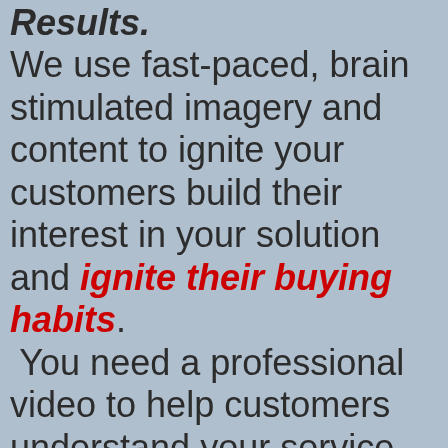Buying and Get Results. We use fast-paced, brain stimulated imagery and content to ignite your customers build their interest in your solution and ignite their buying habits. You need a professional video to help customers understand your service and then be motivated to buy. We get that! Our videos focus on results. After...